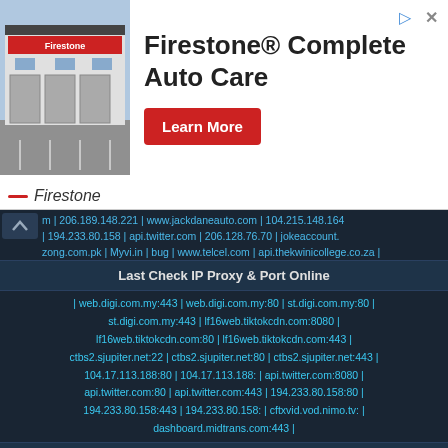[Figure (advertisement): Firestone Complete Auto Care advertisement with store photo, text, and Learn More button]
| 206.189.148.221 | www.jackdaneauto.com | 104.215.148.164 | 194.233.80.158 | api.twitter.com | 206.128.76.70 | jokeaccount. zong.com.pk | Myvi.in | bug | www.telcel.com | api.thekwinicollege.co.za |
Last Check IP Proxy & Port Online
| web.digi.com.my:443 | web.digi.com.my:80 | st.digi.com.my:80 | st.digi.com.my:443 | lf16web.tiktokcdn.com:8080 | lf16web.tiktokcdn.com:80 | lf16web.tiktokcdn.com:443 | ctbs2.sjupiter.net:22 | ctbs2.sjupiter.net:80 | ctbs2.sjupiter.net:443 | 104.17.113.188:80 | 104.17.113.188: | api.twitter.com:8080 | api.twitter.com:80 | api.twitter.com:443 | 194.233.80.158:80 | 194.233.80.158:443 | 194.233.80.158: | cftxvid.vod.nimo.tv: | dashboard.midtrans.com:443 |
Last Check Reverse Domain & IP Lookup
| 194.233.80.158 | api.indosatooredoo.com.dnsdb.org | www.tigo.com.co | 103.253.27.255 | chat.viber.net | 3dporn2.com | optix.pk | 104.21.71.112 | edge-mqtt-shv-01-lga3.facebook.com | 8.8.8.8 | the-pirate-bay-proxy.com | widget.mylife.truelife.com | 123.136.114.141 | 31.192.234.239 | 255.255.255.0 | 98.53.52.173 | 58a41808b40fe9114fffe4a31bb | 103.94.168.168103.94.168.168 | codhack.xyz | camwhores.tv |
Last Check WHOIS Domain/TLD & IP Lookup
| space.byu.id | liga88slot.cc | midtrans.com | nlws1.sshstores.vip | micuentab2b.tigo.com.co | pedulilindungi.id | ooredoo.payload.com |